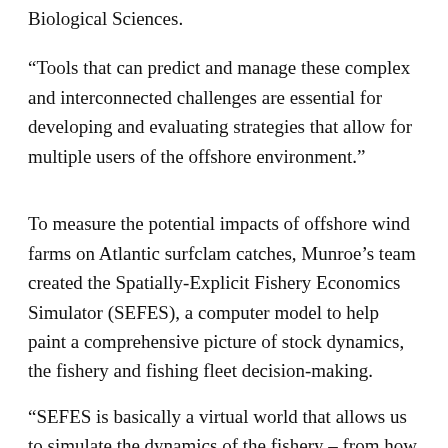Biological Sciences.
“Tools that can predict and manage these complex and interconnected challenges are essential for developing and evaluating strategies that allow for multiple users of the offshore environment.”
To measure the potential impacts of offshore wind farms on Atlantic surfclam catches, Munroe’s team created the Spatially-Explicit Fishery Economics Simulator (SEFES), a computer model to help paint a comprehensive picture of stock dynamics, the fishery and fishing fleet decision-making.
“SEFES is basically a virtual world that allows us to simulate the dynamics of the fishery – from how captains navigate their boats to how weather impacts the catch,” Munroe said. “But the model also has a layer of biology